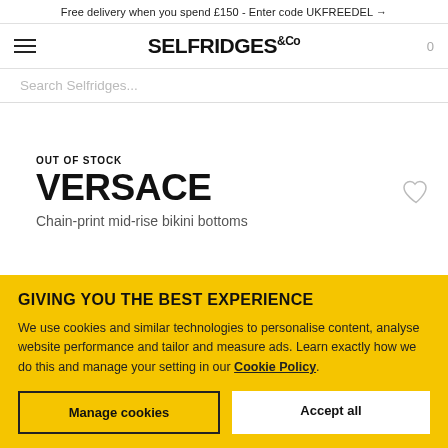Free delivery when you spend £150 - Enter code UKFREEDEL →
[Figure (logo): Selfridges & Co logo with hamburger menu and cart icon]
Search Selfridges...
OUT OF STOCK
VERSACE
Chain-print mid-rise bikini bottoms
GIVING YOU THE BEST EXPERIENCE
We use cookies and similar technologies to personalise content, analyse website performance and tailor and measure ads. Learn exactly how we do this and manage your setting in our Cookie Policy.
Manage cookies
Accept all